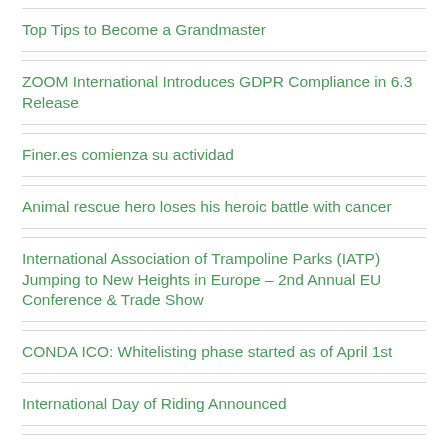Top Tips to Become a Grandmaster
ZOOM International Introduces GDPR Compliance in 6.3 Release
Finer.es comienza su actividad
Animal rescue hero loses his heroic battle with cancer
International Association of Trampoline Parks (IATP) Jumping to New Heights in Europe – 2nd Annual EU Conference & Trade Show
CONDA ICO: Whitelisting phase started as of April 1st
International Day of Riding Announced
April 10th, Conference in the European Parliament, Brussels, themed: A FUTURE FOR DEMOCRACY IN SYRIA